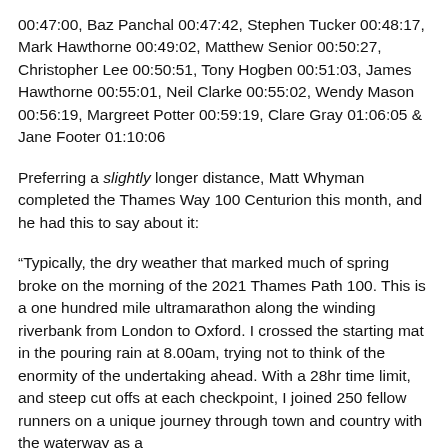00:47:00, Baz Panchal 00:47:42, Stephen Tucker 00:48:17, Mark Hawthorne 00:49:02, Matthew Senior 00:50:27, Christopher Lee 00:50:51, Tony Hogben 00:51:03, James Hawthorne 00:55:01, Neil Clarke 00:55:02, Wendy Mason 00:56:19, Margreet Potter 00:59:19, Clare Gray 01:06:05 & Jane Footer 01:10:06
Preferring a slightly longer distance, Matt Whyman completed the Thames Way 100 Centurion this month, and he had this to say about it:
“Typically, the dry weather that marked much of spring broke on the morning of the 2021 Thames Path 100. This is a one hundred mile ultramarathon along the winding riverbank from London to Oxford. I crossed the starting mat in the pouring rain at 8.00am, trying not to think of the enormity of the undertaking ahead. With a 28hr time limit, and steep cut offs at each checkpoint, I joined 250 fellow runners on a unique journey through town and country with the waterway as a